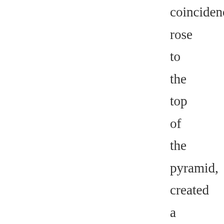coincidence rose to the top of the pyramid, created a multimillion dollar empire (the fake image